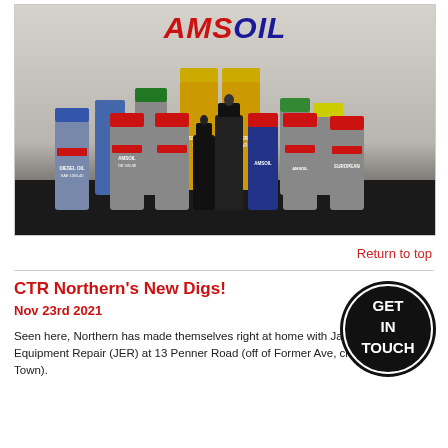[Figure (photo): Photo of multiple AMSOIL motor oil and lubricant bottles arranged in a semicircle on a dark surface, with the AMSOIL logo visible at the top of the image.]
Return to top
CTR Northern's New Digs!
Nov 23rd 2021
[Figure (logo): Black circular badge with white text reading GET IN TOUCH]
Seen here, Northern has made themselves right at home with Janssen Equipment Repair (JER) at 13 Penner Road (off of Former Ave, close to Tinker Town).